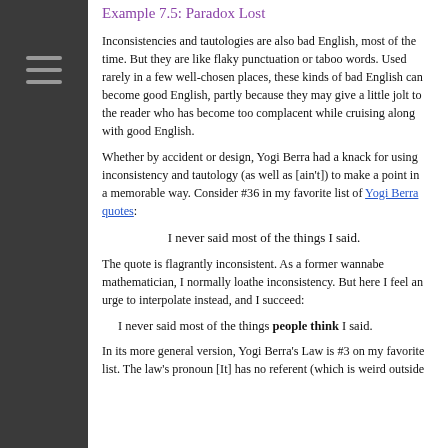Example 7.5: Paradox Lost
Inconsistencies and tautologies are also bad English, most of the time.  But they are like flaky punctuation or taboo words.  Used rarely in a few well-chosen places, these kinds of bad English can become good English, partly because they may give a little jolt to the reader who has become too complacent while cruising along with good English.
Whether by accident or design, Yogi Berra had a knack for using inconsistency and tautology (as well as [ain't]) to make a point in a memorable way.  Consider #36 in my favorite list of Yogi Berra quotes:
I never said most of the things I said.
The quote is flagrantly inconsistent.  As a former wannabe mathematician, I normally loathe inconsistency.  But here I feel an urge to interpolate instead, and I succeed:
I never said most of the things people think I said.
In its more general version, Yogi Berra's Law is #3 on my favorite list.  The law's pronoun [It] has no referent (which is weird outside